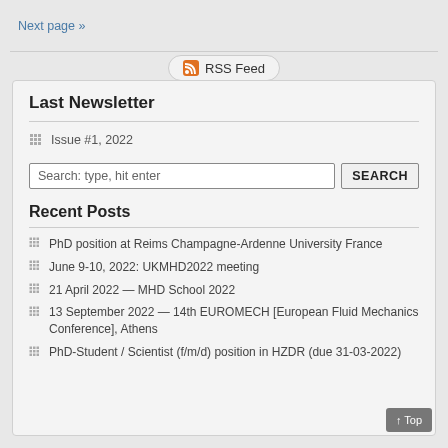Next page »
[Figure (other): RSS Feed badge with orange RSS icon]
Last Newsletter
Issue #1, 2022
Search: type, hit enter
Recent Posts
PhD position at Reims Champagne-Ardenne University France
June 9-10, 2022: UKMHD2022 meeting
21 April 2022 — MHD School 2022
13 September 2022 — 14th EUROMECH [European Fluid Mechanics Conference], Athens
PhD-Student / Scientist (f/m/d) position in HZDR (due 31-03-2022)